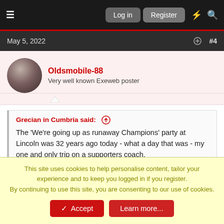Log in  Register
May 5, 2022  #4
Oldsmobile-88
Very well known Exeweb poster
Grecian in Cumbria said: ↑
The 'We're going up as runaway Champions' party at Lincoln was 32 years ago today - what a day that was - my one and only trip on a supporters coach.
That was a great day out..I drove a minibus up full of my work colleagues, I was not popular when it ran out of fuel just past Sowton Roundabout 🙄 The lads had to push it uphill to the Esso garage at
This site uses cookies to help personalise content, tailor your experience and to keep you logged in if you register.
By continuing to use this site, you are consenting to our use of cookies.